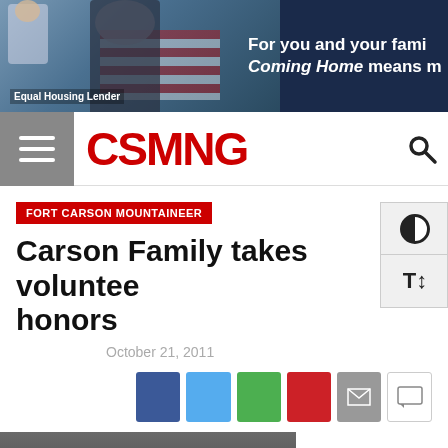[Figure (photo): Banner advertisement with military homecoming photo, text 'For you and your fami... Coming Home means m...' and 'Equal Housing Lender' label]
CSMNG
FORT CARSON MOUNTAINEER
Carson Family takes volunteer honors
October 21, 2011
[Figure (infographic): Social share buttons: Facebook, Twitter, WhatsApp, Pinterest, Email, Comment]
[Figure (photo): Group photo of people standing together]
STORY AND